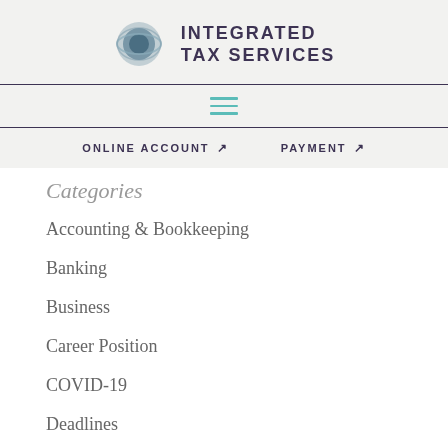[Figure (logo): Integrated Tax Services logo with circular icon and text INTEGRATED TAX SERVICES]
[Figure (other): Hamburger menu icon with three teal horizontal lines]
ONLINE ACCOUNT ↗   PAYMENT ↗
Categories
Accounting & Bookkeeping
Banking
Business
Career Position
COVID-19
Deadlines
Donations